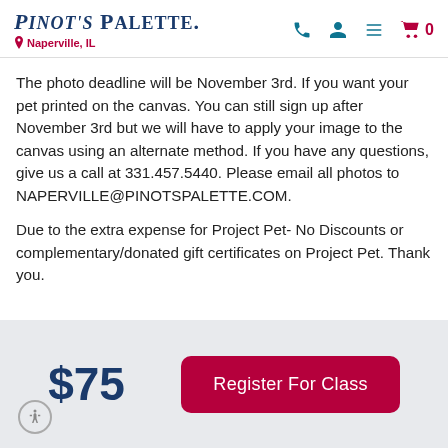Pinot's Palette — Naperville, IL
The photo deadline will be November 3rd. If you want your pet printed on the canvas. You can still sign up after November 3rd but we will have to apply your image to the canvas using an alternate method. If you have any questions, give us a call at 331.457.5440. Please email all photos to NAPERVILLE@PINOTSPALETTE.COM.
Due to the extra expense for Project Pet- No Discounts or complementary/donated gift certificates on Project Pet. Thank you.
$75
Register For Class